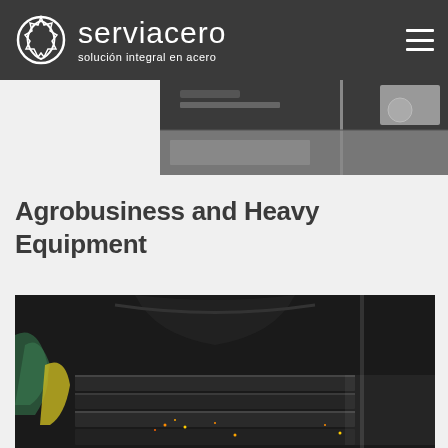[Figure (logo): Serviacero logo with circle icon and tagline 'solución integral en acero' on dark grey navigation bar with hamburger menu icon]
[Figure (photo): Close-up photo of steel machinery parts and equipment from above, dark industrial setting]
Agrobusiness and Heavy Equipment
[Figure (photo): Dark industrial photo showing a worker welding or cutting steel square tubes with sparks flying, wearing green protective gear]